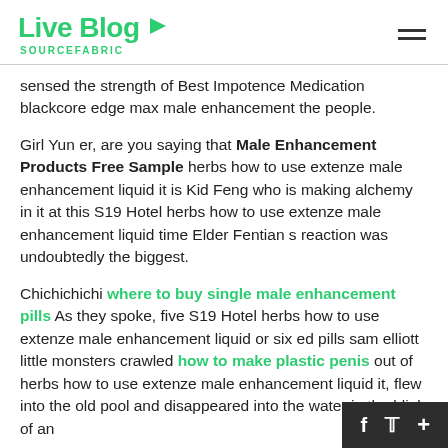Live Blog SOURCEFABRIC
sensed the strength of Best Impotence Medication blackcore edge max male enhancement the people.
Girl Yun er, are you saying that Male Enhancement Products Free Sample herbs how to use extenze male enhancement liquid it is Kid Feng who is making alchemy in it at this S19 Hotel herbs how to use extenze male enhancement liquid time Elder Fentian s reaction was undoubtedly the biggest.
Chichichichi where to buy single male enhancement pills As they spoke, five S19 Hotel herbs how to use extenze male enhancement liquid or six ed pills sam elliott little monsters crawled how to make plastic penis out of herbs how to use extenze male enhancement liquid it, flew into the old pool and disappeared into the water in the blink of an